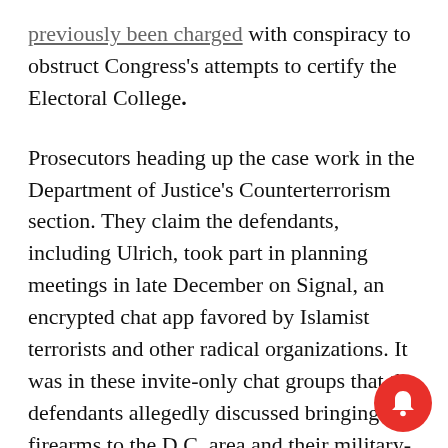previously been charged with conspiracy to obstruct Congress's attempts to certify the Electoral College.
Prosecutors heading up the case work in the Department of Justice's Counterterrorism section. They claim the defendants, including Ulrich, took part in planning meetings in late December on Signal, an encrypted chat app favored by Islamist terrorists and other radical organizations. It was in these invite-only chat groups that the defendants allegedly discussed bringing firearms to the D.C. area and their military-style tactical plans to invade the Ca[pitol] while Congress was in session.